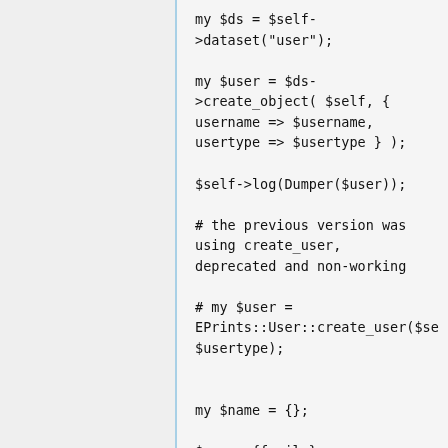my $ds = $self->dataset("user");

my $user = $ds->create_object( $self, { username => $username, usertype => $usertype } );

$self->log(Dumper($user));

# the previous version was using create_user, deprecated and non-working

# my $user = EPrints::User::create_user($self $usertype);


my $name = {};

$name->{family} = $ldap_entry->get_value("sn");